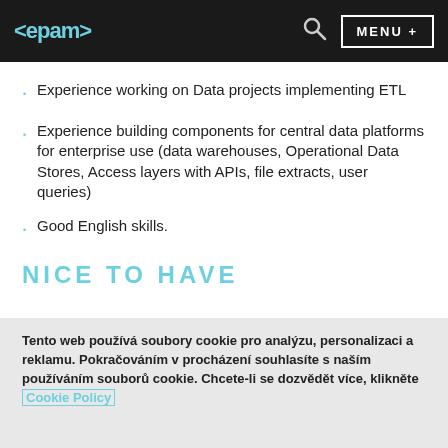<epam> MENU +
Experience working on Data projects implementing ETL
Experience building components for central data platforms for enterprise use (data warehouses, Operational Data Stores, Access layers with APIs, file extracts, user queries)
Good English skills.
NICE TO HAVE
Tento web používá soubory cookie pro analýzu, personalizaci a reklamu. Pokračováním v procházení souhlasíte s naším používáním souborů cookie. Chcete-li se dozvědět více, klikněte Cookie Policy